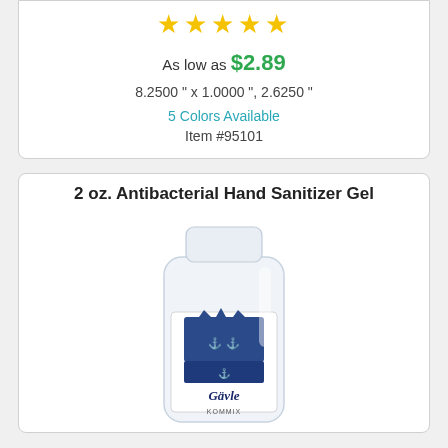[Figure (other): Five gold star rating icons]
As low as $2.89
8.2500 " x 1.0000 ", 2.6250 "
5 Colors Available
Item #95101
2 oz. Antibacterial Hand Sanitizer Gel
[Figure (photo): A small clear 2 oz hand sanitizer gel bottle with a Gavle brand label featuring an anchor crest logo]